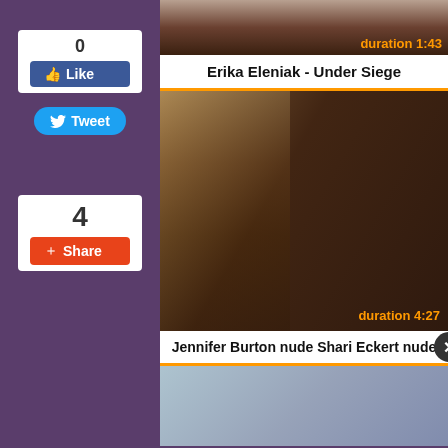[Figure (screenshot): Social media like button showing count 0 and blue Like button]
[Figure (screenshot): Blue Tweet button with Twitter bird icon]
[Figure (screenshot): Share box showing count 4 and red Share button]
[Figure (screenshot): Video thumbnail with duration badge showing 1:43]
Erika Eleniak - Under Siege
[Figure (screenshot): Video thumbnail of scene with lamp, duration badge showing 4:27]
Jennifer Burton nude Shari Eckert nude
[Figure (screenshot): Bottom video preview thumbnail, partially visible]